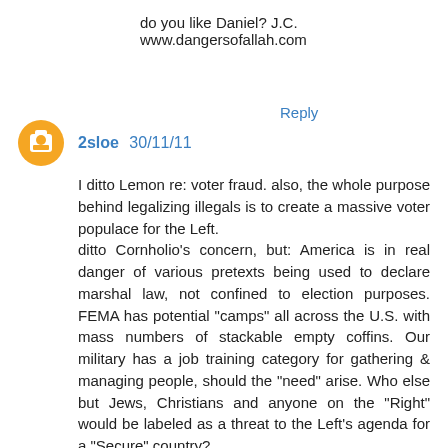do you like Daniel? J.C. www.dangersofallah.com
Reply
2sloe 30/11/11
I ditto Lemon re: voter fraud. also, the whole purpose behind legalizing illegals is to create a massive voter populace for the Left.
ditto Cornholio's concern, but: America is in real danger of various pretexts being used to declare marshal law, not confined to election purposes. FEMA has potential "camps" all across the U.S. with mass numbers of stackable empty coffins. Our military has a job training category for gathering & managing people, should the "need" arise. Who else but Jews, Christians and anyone on the "Right" would be labeled as a threat to the Left's agenda for a "Secure" country?
@TPaine: you are out of your frickin mind about Ron Paul. He wouldn't do shit for Israel no matter what happened.

IMO, *based on scripture*, we are at the point where the